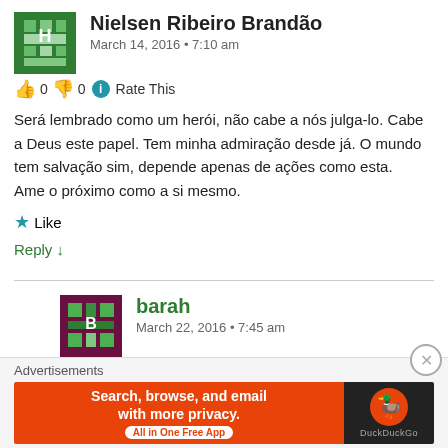Nielsen Ribeiro Brandão
March 14, 2016 • 7:10 am
👍 0 👎 0 ℹ Rate This
Será lembrado como um herói, não cabe a nós julga-lo. Cabe a Deus este papel. Tem minha admiração desde já. O mundo tem salvação sim, depende apenas de ações como esta.
Ame o próximo como a si mesmo.
★ Like
Reply ↓
barah
March 22, 2016 • 7:45 am
👍 0 👎 0 ℹ Rate This
Advertisements
Search, browse, and email with more privacy. All in One Free App — DuckDuckGo